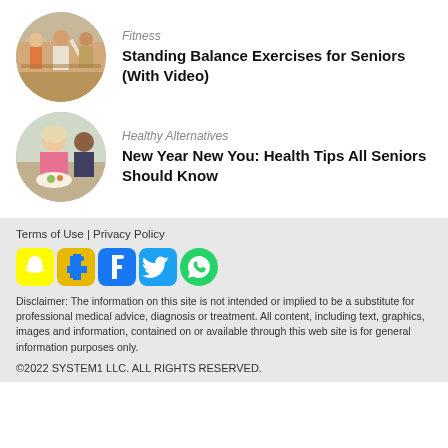[Figure (photo): Circular photo of seniors doing standing balance exercises in a group fitness class]
Fitness
Standing Balance Exercises for Seniors (With Video)
[Figure (photo): Circular photo of an older woman in a pink sweater eating a healthy meal]
Healthy Alternatives
New Year New You: Health Tips All Seniors Should Know
Terms of Use | Privacy Policy
[Figure (infographic): Social media icons: Snapchat (yellow), two Facebook icons (blue), Twitter (blue), WhatsApp (green)]
Disclaimer: The information on this site is not intended or implied to be a substitute for professional medical advice, diagnosis or treatment. All content, including text, graphics, images and information, contained on or available through this web site is for general information purposes only.
©2022 SYSTEM1 LLC. ALL RIGHTS RESERVED.